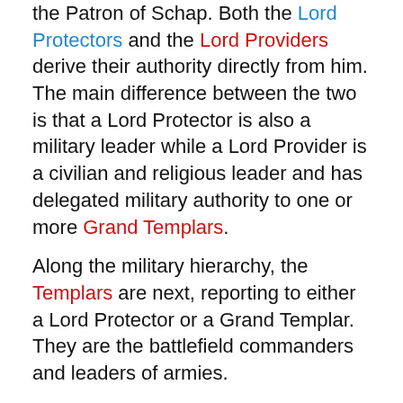the Patron of Schap. Both the Lord Protectors and the Lord Providers derive their authority directly from him. The main difference between the two is that a Lord Protector is also a military leader while a Lord Provider is a civilian and religious leader and has delegated military authority to one or more Grand Templars.
Along the military hierarchy, the Templars are next, reporting to either a Lord Protector or a Grand Templar. They are the battlefield commanders and leaders of armies.
Along the civilian hierarchy, the Grand Stewards manage affairs for parts of provinces, cities or some larger towns, while the Stewards are in charge of smaller towns, villages and other settlements.
The religious hierarchy is the most important within Schap. Below the Lord Protectors and Lord Providers are the Voicers. These spiritual leaders run grand temples and...